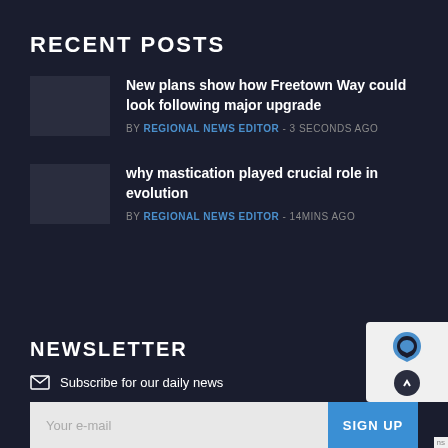RECENT POSTS
New plans show how Freetown Way could look following major upgrade
BY REGIONAL NEWS EDITOR - 3 SECONDS AGO
why mastication played crucial role in evolution
BY REGIONAL NEWS EDITOR - 14MINS AGO
NEWSLETTER
Subscribe for our daily news
Your e-mail
SIGN UP